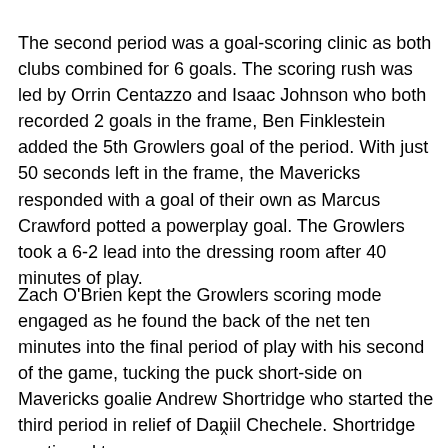The second period was a goal-scoring clinic as both clubs combined for 6 goals. The scoring rush was led by Orrin Centazzo and Isaac Johnson who both recorded 2 goals in the frame, Ben Finklestein added the 5th Growlers goal of the period. With just 50 seconds left in the frame, the Mavericks responded with a goal of their own as Marcus Crawford potted a powerplay goal. The Growlers took a 6-2 lead into the dressing room after 40 minutes of play.
Zach O'Brien kept the Growlers scoring mode engaged as he found the back of the net ten minutes into the final period of play with his second of the game, tucking the puck short-side on Mavericks goalie Andrew Shortridge who started the third period in relief of Daniil Chechele. Shortridge continued to
x